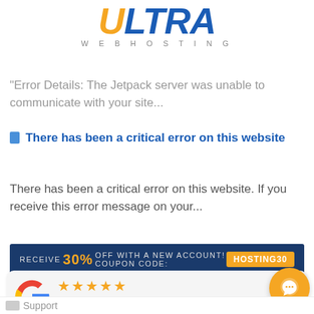[Figure (logo): Ultra Web Hosting logo with 'ULTRA' in large italic bold text (U in orange, LTRA in blue) and 'W E B H O S T I N G' in gray spaced lettering below]
"Error Details: The Jetpack server was unable to communicate with your site...
There has been a critical error on this website
There has been a critical error on this website. If you receive this error message on your...
[Figure (infographic): Dark navy promotional banner: RECEIVE 30% OFF WITH A NEW ACCOUNT! COUPON CODE: HOSTING30]
[Figure (infographic): Google review card with Google G logo, 5 yellow stars, review text 'Always available for support, great company More' by Daniel Ilievski, and an orange chat bubble icon]
Support